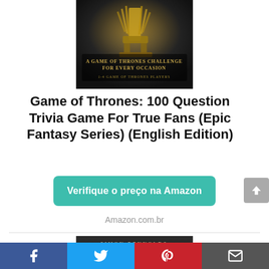[Figure (photo): Book cover for Game of Thrones trivia game showing an iron throne on dark background with text 'A Game of Thrones Challenge for Every Occasion, 1-4 Game of Thrones Players']
Game of Thrones: 100 Question Trivia Game For True Fans (Epic Fantasy Series) (English Edition)
Verifique o preço na Amazon
Amazon.com.br
[Figure (photo): Book cover showing Simon Reynolds as author with a face/portrait image on dark background]
[Figure (infographic): Social media share bar with Facebook, Twitter, Pinterest, and Email icons]